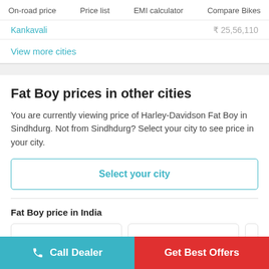On-road price   Price list   EMI calculator   Compare Bikes
Kankavali   ₹ 25,56,110
View more cities
Fat Boy prices in other cities
You are currently viewing price of Harley-Davidson Fat Boy in Sindhdurg. Not from Sindhdurg? Select your city to see price in your city.
Select your city
Fat Boy price in India
Call Dealer
Get Best Offers